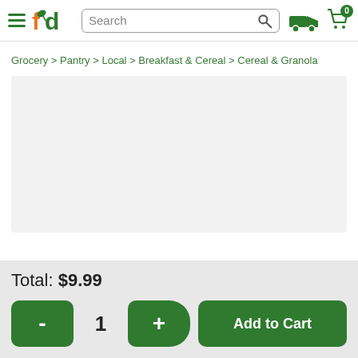fd Search [search icon] [delivery icon] [cart icon] 0
Grocery > Pantry > Local > Breakfast & Cereal > Cereal & Granola
[Figure (photo): Product image placeholder area with light gray background]
Total: $9.99
- 1 + Add to Cart